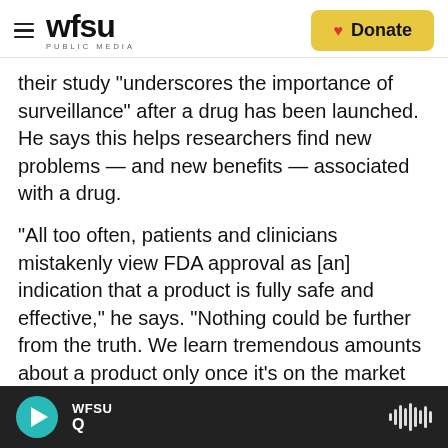WFSU PUBLIC MEDIA | Donate
their study "underscores the importance of surveillance" after a drug has been launched. He says this helps researchers find new problems — and new benefits — associated with a drug.
"All too often, patients and clinicians mistakenly view FDA approval as [an] indication that a product is fully safe and effective," he says. "Nothing could be further from the truth. We learn tremendous amounts about a product only once it's on the market and only after use among a broad population."
WFSU Q